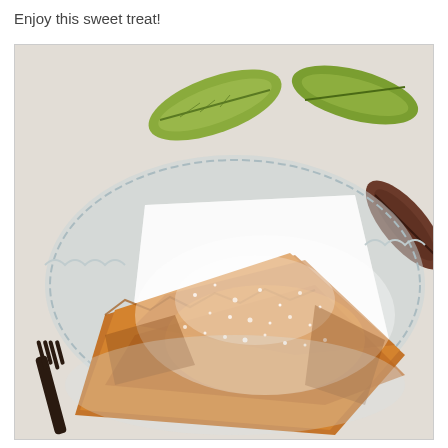Enjoy this sweet treat!
[Figure (photo): A close-up food photo of a golden-brown pastry (strudel or similar phyllo dough pastry) dusted generously with powdered sugar, served on a decorative glass plate with a dark fork, against a floral patterned cloth background featuring green and dark brown leaf motifs.]